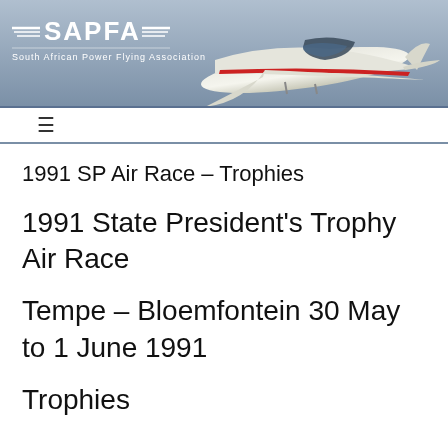[Figure (logo): SAPFA (South African Power Flying Association) website header banner with logo on left showing stylized wings and SAPFA text, tagline 'South African Power Flying Association', and a Cessna aircraft photo on the right against a blue-grey sky background.]
1991 SP Air Race – Trophies
1991 State President's Trophy Air Race
Tempe – Bloemfontein 30 May to 1 June 1991
Trophies